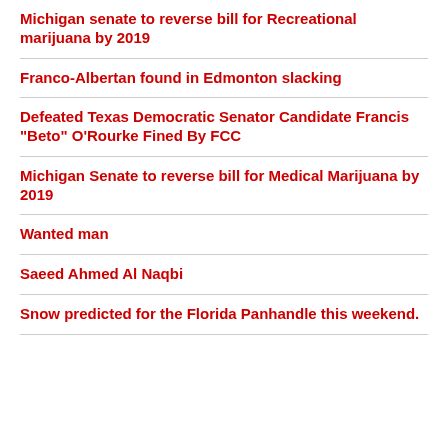Michigan senate to reverse bill for Recreational marijuana by 2019
Franco-Albertan found in Edmonton slacking
Defeated Texas Democratic Senator Candidate Francis "Beto" O'Rourke Fined By FCC
Michigan Senate to reverse bill for Medical Marijuana by 2019
Wanted man
Saeed Ahmed Al Naqbi
Snow predicted for the Florida Panhandle this weekend.